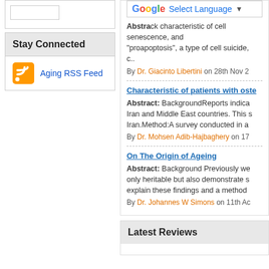Stay Connected
Aging RSS Feed
Abstract: characteristic of cell senescence, and "proapoptosis", a type of cell suicide, c..
By Dr. Giacinto Libertini on 28th Nov 2
Characteristic of patients with oste
Abstract: BackgroundReports indica Iran and Middle East countries. This s Iran.Method:A survey conducted in a
By Dr. Mohsen Adib-Hajbaghery on 17
On The Origin of Ageing
Abstract: Background Previously we only heritable but also demonstrate s explain these findings and a method
By Dr. Johannes W Simons on 11th Ag
Latest Reviews